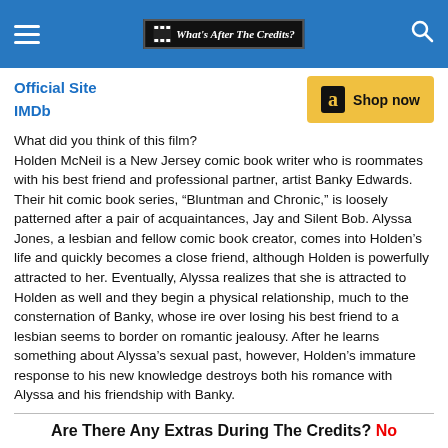What's After The Credits?
Official Site
IMDb
What did you think of this film? Holden McNeil is a New Jersey comic book writer who is roommates with his best friend and professional partner, artist Banky Edwards. Their hit comic book series, “Bluntman and Chronic,” is loosely patterned after a pair of acquaintances, Jay and Silent Bob. Alyssa Jones, a lesbian and fellow comic book creator, comes into Holden’s life and quickly becomes a close friend, although Holden is powerfully attracted to her. Eventually, Alyssa realizes that she is attracted to Holden as well and they begin a physical relationship, much to the consternation of Banky, whose ire over losing his best friend to a lesbian seems to border on romantic jealousy. After he learns something about Alyssa’s sexual past, however, Holden’s immature response to his new knowledge destroys both his romance with Alyssa and his friendship with Banky.
Are There Any Extras During The Credits? No
Are There Any Extras After The Credits? No
Note: “Jay and Silent Bob will return in “Dogma”… (promise).”